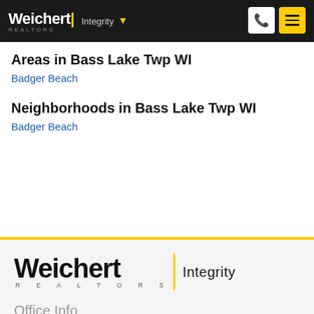Weichert | Integrity
Areas in Bass Lake Twp WI
Badger Beach
Neighborhoods in Bass Lake Twp WI
Badger Beach
[Figure (logo): Weichert Realtors Integrity logo with yellow vertical bar]
Office Info
Weichert, Realtors®